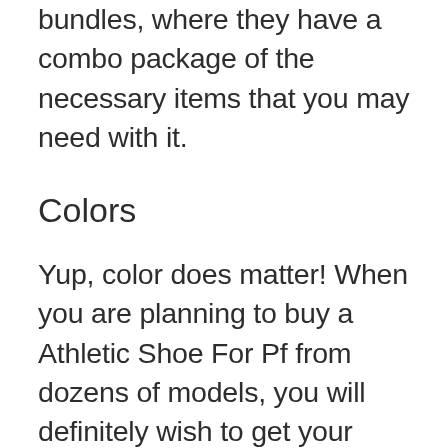bundles, where they have a combo package of the necessary items that you may need with it.
Colors
Yup, color does matter! When you are planning to buy a Athletic Shoe For Pf from dozens of models, you will definitely wish to get your desired color. As, color is the symbol of choice, aristocracy and represents your personal taste. We have reviewed some of the best Athletic Shoe For Pf